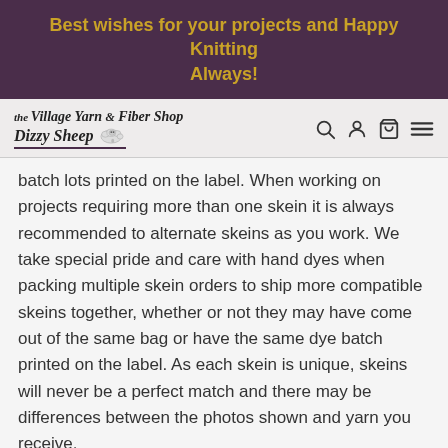Best wishes for your projects and Happy Knitting Always!
[Figure (logo): The Village Yarn & Fiber Shop Dizzy Sheep logo with navigation icons (search, account, cart, menu)]
batch lots printed on the label.  When working on projects requiring more than one skein it is always recommended to alternate skeins as you work.  We take special pride and care with hand dyes when packing multiple skein orders to ship more compatible skeins together, whether or not they may have come out of the same bag or have the same dye batch printed on the label.  As each skein is unique, skeins will never be a perfect match and there may be differences between the photos shown and yarn you receive.